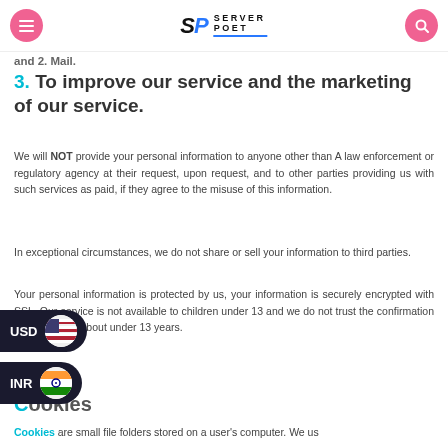SP Server Poet
and 2. Mail.
3. To improve our service and the marketing of our service.
We will NOT provide your personal information to anyone other than A law enforcement or regulatory agency at their request, upon request, and to other parties providing us with such services as paid, if they agree to the misuse of this information.
In exceptional circumstances, we do not share or sell your information to third parties.
Your personal information is protected by us, your information is securely encrypted with SSL. Our service is not available to children under 13 and we do not trust the confirmation of information about under 13 years.
Cookies
Cookies are small file folders stored on a user's computer. We us